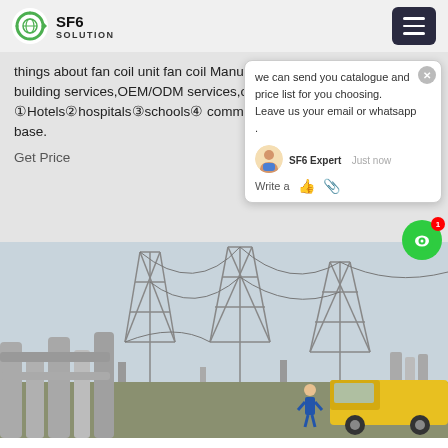SF6 SOLUTION
things about fan coil unit fan coil Manufacturers and suppliers on building services,OEM/ODM services,our clients include: ①Hotels②hospitals③schools④ commercial buildings ⑥planting base.
Get Price
[Figure (screenshot): Chat popup widget showing SF6 Expert message: 'we can send you catalogue and price list for you choosing. Leave us your email or whatsapp .']
[Figure (photo): Photo of an electrical substation with transmission towers, large pipes/conduits, and a yellow truck with a worker in blue overalls]